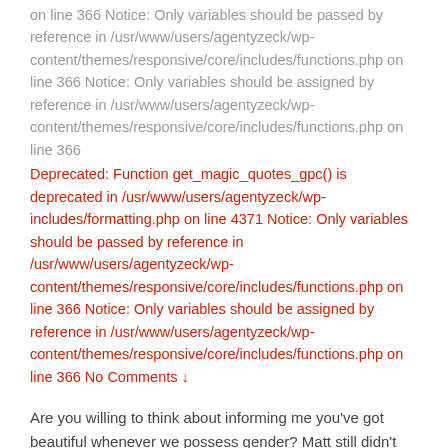on line 366 Notice: Only variables should be passed by reference in /usr/www/users/agentyzeck/wp-content/themes/responsive/core/includes/functions.php on line 366 Notice: Only variables should be assigned by reference in /usr/www/users/agentyzeck/wp-content/themes/responsive/core/includes/functions.php on line 366
Deprecated: Function get_magic_quotes_gpc() is deprecated in /usr/www/users/agentyzeck/wp-includes/formatting.php on line 4371 Notice: Only variables should be passed by reference in /usr/www/users/agentyzeck/wp-content/themes/responsive/core/includes/functions.php on line 366 Notice: Only variables should be assigned by reference in /usr/www/users/agentyzeck/wp-content/themes/responsive/core/includes/functions.php on line 366 No Comments ↓
Are you willing to think about informing me you've got beautiful whenever we possess gender? Matt still didn't cam when he in the end increased their body out-of his partner. She are protected inside the sweat off your and her …
Read more ›